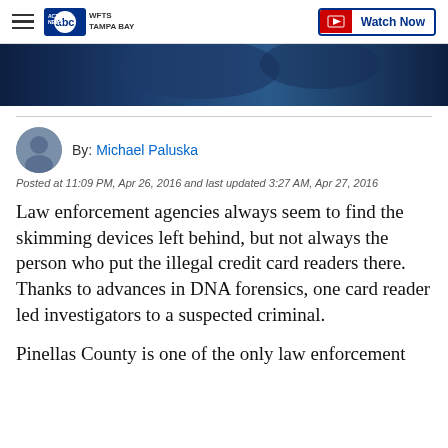WFTS Tampa Bay — Watch Now
[Figure (photo): Dark blue news broadcast image at top of article]
By: Michael Paluska
Posted at 11:09 PM, Apr 26, 2016 and last updated 3:27 AM, Apr 27, 2016
Law enforcement agencies always seem to find the skimming devices left behind, but not always the person who put the illegal credit card readers there. Thanks to advances in DNA forensics, one card reader led investigators to a suspected criminal.
Pinellas County is one of the only law enforcement jurisdictions in the state that sends DNA samples to the